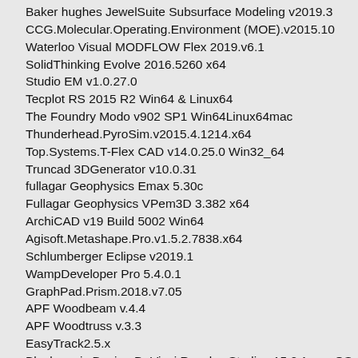Baker hughes JewelSuite Subsurface Modeling v2019.3
CCG.Molecular.Operating.Environment (MOE).v2015.10
Waterloo Visual MODFLOW Flex 2019.v6.1
SolidThinking Evolve 2016.5260 x64
Studio EM v1.0.27.0
Tecplot RS 2015 R2 Win64 & Linux64
The Foundry Modo v902 SP1 Win64Linux64mac
Thunderhead.PyroSim.v2015.4.1214.x64
Top.Systems.T-Flex CAD v14.0.25.0 Win32_64
Truncad 3DGenerator v10.0.31
fullagar Geophysics Emax 5.30c
Fullagar Geophysics VPem3D 3.382 x64
ArchiCAD v19 Build 5002 Win64
Agisoft.Metashape.Pro.v1.5.2.7838.x64
Schlumberger Eclipse v2019.1
WampDeveloper Pro 5.4.0.1
GraphPad.Prism.2018.v7.05
APF Woodbeam v.4.4
APF Woodtruss v.3.3
EasyTrack2.5.x
Blackmagic Design DaVinci Resolve Studio v15.2.1 macOS
Thunderhead PyroSim 2020.3 x64
DaVinci Resolve Studio v15.2.3.15 x64
DS SIMULIA Suite v2019 Win
PTC Creo Schematics 4.0 M010